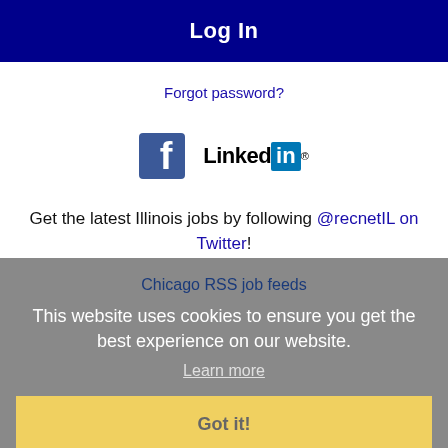Log In
Forgot password?
[Figure (logo): Facebook and LinkedIn social login icons]
Get the latest Illinois jobs by following @recnetIL on Twitter!
Chicago RSS job feeds
This website uses cookies to ensure you get the best experience on our website.
Learn more
Got it!
JOB SEEKERS
Search Chicago jobs